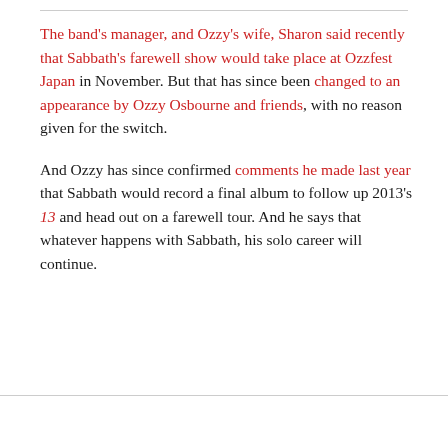The band's manager, and Ozzy's wife, Sharon said recently that Sabbath's farewell show would take place at Ozzfest Japan in November. But that has since been changed to an appearance by Ozzy Osbourne and friends, with no reason given for the switch.
And Ozzy has since confirmed comments he made last year that Sabbath would record a final album to follow up 2013's 13 and head out on a farewell tour. And he says that whatever happens with Sabbath, his solo career will continue.